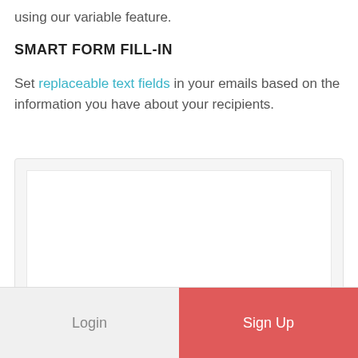using our variable feature.
SMART FORM FILL-IN
Set replaceable text fields in your emails based on the information you have about your recipients.
[Figure (screenshot): A white rectangular content area inside a light grey rounded box, showing an empty form or image preview area.]
Login
Sign Up